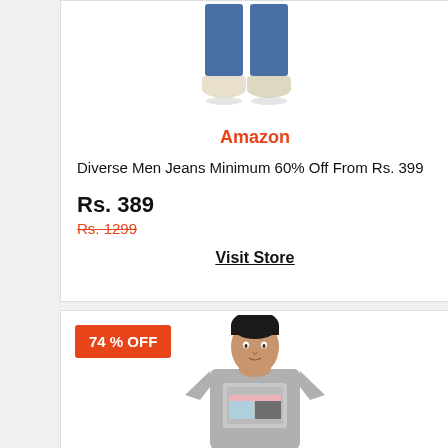[Figure (photo): Bottom half of a person wearing blue jeans and white sneakers]
Amazon
Diverse Men Jeans Minimum 60% Off From Rs. 399
Rs. 389
Rs. 1299
Visit Store
74 % OFF
[Figure (photo): Man wearing a grey graphic t-shirt]